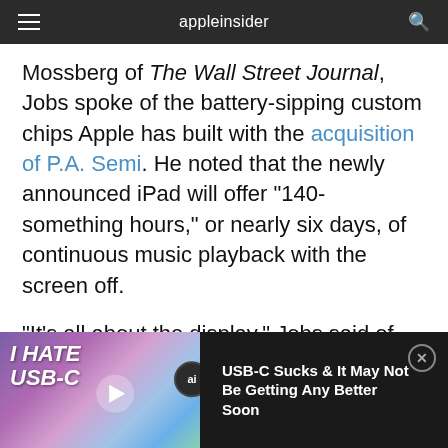appleinsider
Mossberg of The Wall Street Journal, Jobs spoke of the battery-sipping custom chips Apple has built with the acquisition of P.A. Semi. He noted that the newly announced iPad will offer "140-something hours," or nearly six days, of continuous music playback with the screen off.
"It's all about the display," Jobs said of battery life. "Our chips don't use hardly any power."
[Figure (screenshot): Video overlay bar at the bottom: thumbnail on left with purple gradient background showing 'I HATE USB-C' text and a play button, ai badge, and dark panel on right with title 'USB-C Sucks & It May Not Be Getting Any Better Soon' in white text with a close button]